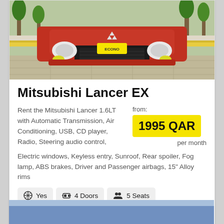[Figure (photo): Front view of a red Mitsubishi Lancer EX car parked on a paved surface with palm trees in the background]
Mitsubishi Lancer EX
Rent the Mitsubishi Lancer 1.6LT with Automatic Transmission, Air Conditioning, USB, CD player, Radio, Steering audio control, Electric windows, Keyless entry, Sunroof, Rear spoiler, Fog lamp, ABS brakes, Driver and Passenger airbags, 15" Alloy rims
from: 1995 QAR per month
Yes (A/C)
4 Doors
5 Seats
Automatic
[Figure (photo): Partial view of another car listing with blue background at the bottom of the page]